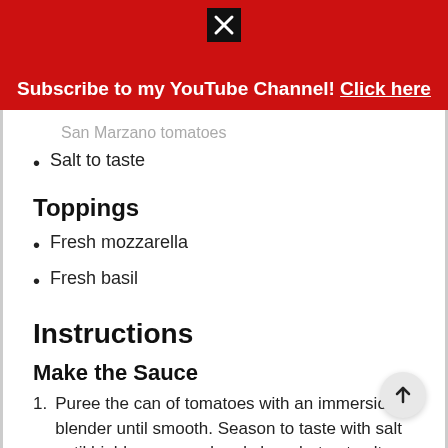Subscribe to my YouTube Channel! Click here
San Marzano tomatoes
Salt to taste
Toppings
Fresh mozzarella
Fresh basil
Instructions
Make the Sauce
Puree the can of tomatoes with an immersion blender until smooth. Season to taste with salt until highly seasoned and sharp but not salty.